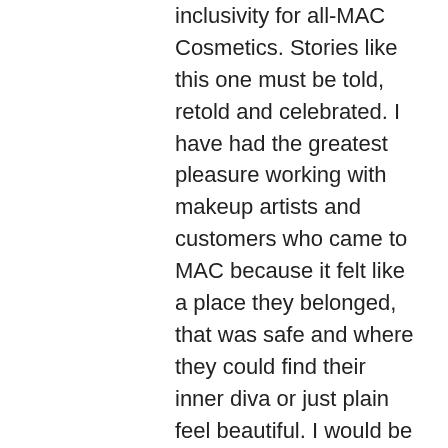inclusivity for all-MAC Cosmetics. Stories like this one must be told, retold and celebrated. I have had the greatest pleasure working with makeup artists and customers who came to MAC because it felt like a place they belonged, that was safe and where they could find their inner diva or just plain feel beautiful. I would be honored to provide your son with an opportunity to add a little sparkle in any of our stores. It is a place for all people to come and be who ever they are. Charlie sounds like an amazing kid; we need more like him. As a mother of 3 daughters, all unique and individual, I am trying my best to make sure they love and support people who are just trying to find where they fit in this world. We do plenty of shopping at Justice- and now we will